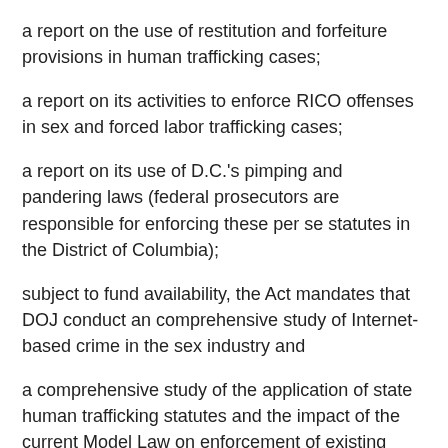a report on the use of restitution and forfeiture provisions in human trafficking cases;
a report on its activities to enforce RICO offenses in sex and forced labor trafficking cases;
a report on its use of D.C.'s pimping and pandering laws (federal prosecutors are responsible for enforcing these per se statutes in the District of Columbia);
subject to fund availability, the Act mandates that DOJ conduct an comprehensive study of Internet-based crime in the sex industry and
a comprehensive study of the application of state human trafficking statutes and the impact of the current Model Law on enforcement of existing State pandering statutes.
The Department of Health and Human Services and the DOJ must submit a report to Congress on the extent of any "service gap" between domestic and foreign national survivors of trafficking.